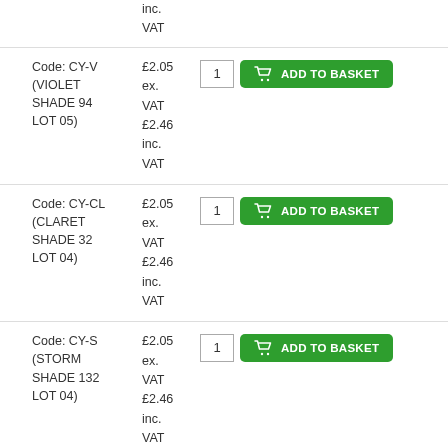inc. VAT
Code: CY-V (VIOLET SHADE 94 LOT 05) £2.05 ex. VAT £2.46 inc. VAT
Code: CY-CL (CLARET SHADE 32 LOT 04) £2.05 ex. VAT £2.46 inc. VAT
Code: CY-S (STORM SHADE 132 LOT 04) £2.05 ex. VAT £2.46 inc. VAT
Code: CY-L (LATTE £2.05 ex.